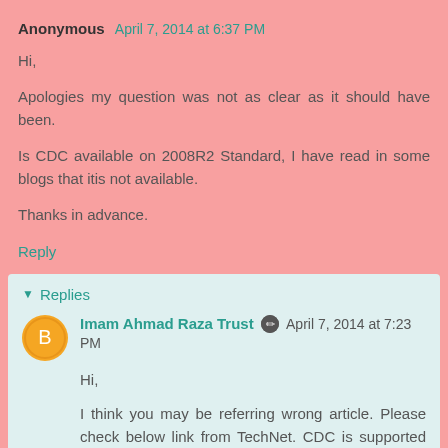Anonymous April 7, 2014 at 6:37 PM
Hi,
Apologies my question was not as clear as it should have been.
Is CDC available on 2008R2 Standard, I have read in some blogs that itis not available.
Thanks in advance.
Reply
Replies
Imam Ahmad Raza Trust April 7, 2014 at 7:23 PM
Hi,
I think you may be referring wrong article. Please check below link from TechNet. CDC is supported from 2008 version.